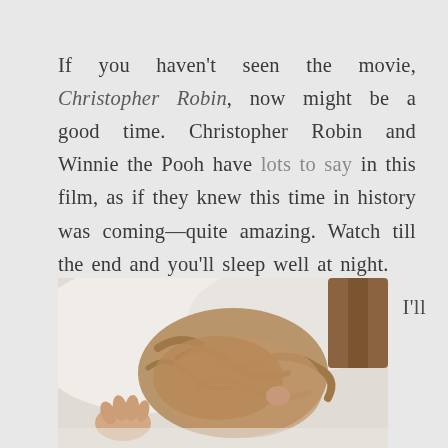If you haven't seen the movie, Christopher Robin, now might be a good time. Christopher Robin and Winnie the Pooh have lots to say in this film, as if they knew this time in history was coming—quite amazing. Watch till the end and you'll sleep well at night.
[Figure (photo): A young child sleeping face-down on white pillows and bedding, with blonde/light brown hair spread around their head, one small hand visible]
I'll